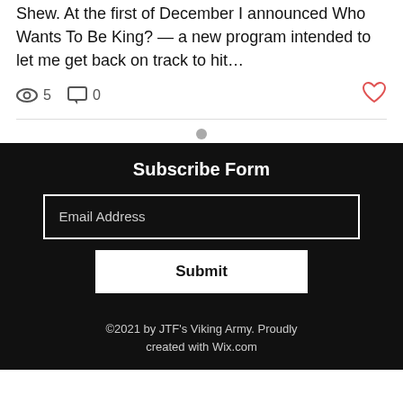Shew. At the first of December I announced Who Wants To Be King? — a new program intended to let me get back on track to hit…
5 views · 0 comments · Like post
Subscribe Form
Email Address
Submit
©2021 by JTF's Viking Army. Proudly created with Wix.com